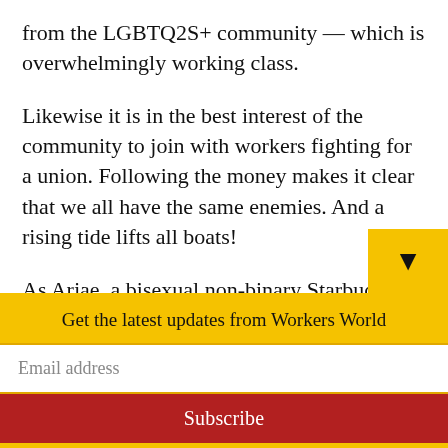from the LGBTQ2S+ community — which is overwhelmingly working class.
Likewise it is in the best interest of the community to join with workers fighting for a union. Following the money makes it clear that we all have the same enemies. And a rising tide lifts all boats!
As Arjae, a bisexual non-binary Starbucks worker and union organizer in Buffalo said: “There can’t be any hope for LGBTQ2S+ liberation through capitalism. Queer and
Get the latest updates from Workers World
Email address
Subscribe